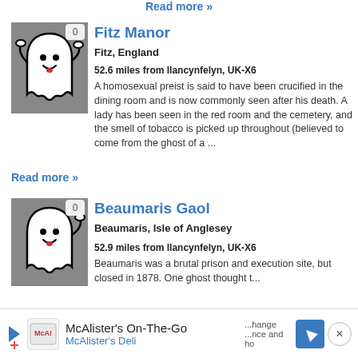Read more »
Fitz Manor
Fitz, England
52.6 miles from llancynfelyn, UK-X6
A homosexual preist is said to have been crucified in the dining room and is now commonly seen after his death. A lady has been seen in the red room and the cemetery, and the smell of tobacco is picked up throughout (believed to come from the ghost of a ...
[Figure (illustration): Ghost cartoon illustration on grey background with badge showing 0]
Read more »
Beaumaris Gaol
Beaumaris, Isle of Anglesey
52.9 miles from llancynfelyn, UK-X6
Beaumaris was a brutal prison and execution site, but closed in 1878. One ghost thought t...
[Figure (illustration): Ghost cartoon illustration on grey background with badge showing 0]
[Figure (screenshot): Advertisement banner: McAlister's On-The-Go, McAlister's Deli with navigation icon and close button]